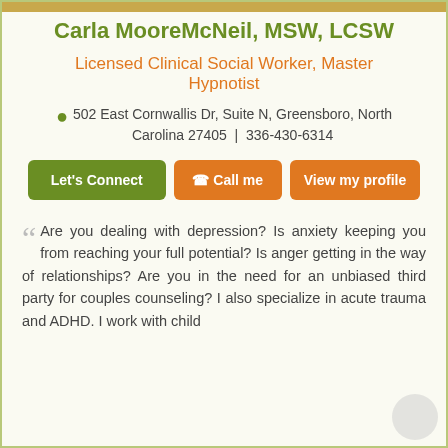Carla MooreMcNeil, MSW, LCSW
Licensed Clinical Social Worker, Master Hypnotist
502 East Cornwallis Dr, Suite N, Greensboro, North Carolina 27405 | 336-430-6314
Let's Connect | Call me | View my profile
Are you dealing with depression? Is anxiety keeping you from reaching your full potential? Is anger getting in the way of relationships? Are you in the need for an unbiased third party for couples counseling? I also specialize in acute trauma and ADHD. I work with child